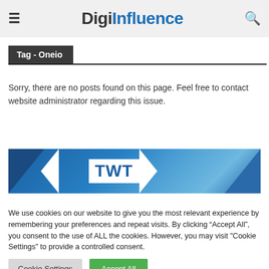≡  DigiInfluence  🔍
Tag - Oneio
Sorry, there are no posts found on this page. Feel free to contact website administrator regarding this issue.
[Figure (logo): TWT advertisement banner with blue gradient background and white TWT text logo]
We use cookies on our website to give you the most relevant experience by remembering your preferences and repeat visits. By clicking "Accept All", you consent to the use of ALL the cookies. However, you may visit "Cookie Settings" to provide a controlled consent.